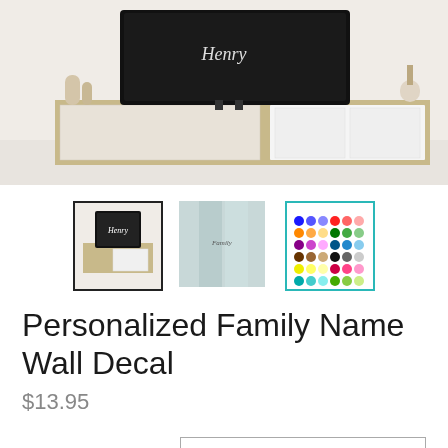[Figure (photo): Main product photo showing a TV on a wooden media console with a family name wall decal applied above it, in a home living room setting.]
[Figure (photo): Thumbnail 1 (selected): TV on media console with 'Henry' wall decal, black border selected state.]
[Figure (photo): Thumbnail 2: Pale blue door or wall with a small script wall decal applied.]
[Figure (photo): Thumbnail 3: Color swatch chart showing available vinyl colors.]
Personalized Family Name Wall Decal
$13.95
Established Date*